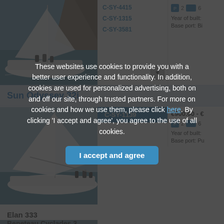[Figure (photo): Sailboat on water near rocky cliffs, people on deck]
C-SY-4415
C-SY-1315
C-SY-3581
Year of built:
Base port: Bi
Sun Odyssey 32i
[Figure (photo): Sailboat with white sails, crew on deck]
C-SY-1139
€900.00 - €
2  6
Year of built:
Base port: Pu
Elan 333
[Figure (photo): Sailboat with crew racing, partially obscured by cookie overlay]
C-SY-1509
€900.00 - €
2  6
Year of built:
Base port: Bi
These websites use cookies to provide you with a better user experience and functionality. In addition, cookies are used for personalized advertising, both on and off our site, through trusted partners. For more on cookies and how we use them, please click here. By clicking 'I accept and agree', you agree to the use of all cookies.
I accept and agree
Beneteau Cyclades 3